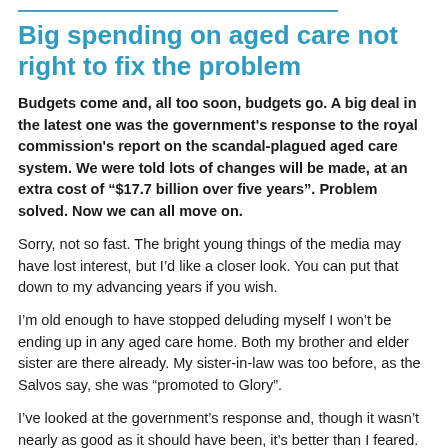Big spending on aged care not right to fix the problem
Budgets come and, all too soon, budgets go. A big deal in the latest one was the government's response to the royal commission's report on the scandal-plagued aged care system. We were told lots of changes will be made, at an extra cost of “$17.7 billion over five years”. Problem solved. Now we can all move on.
Sorry, not so fast. The bright young things of the media may have lost interest, but I’d like a closer look. You can put that down to my advancing years if you wish.
I’m old enough to have stopped deluding myself I won’t be ending up in any aged care home. Both my brother and elder sister are there already. My sister-in-law was too before, as the Salvos say, she was “promoted to Glory”.
I’ve looked at the government’s response and, though it wasn’t nearly as good as it should have been, it’s better than I feared.